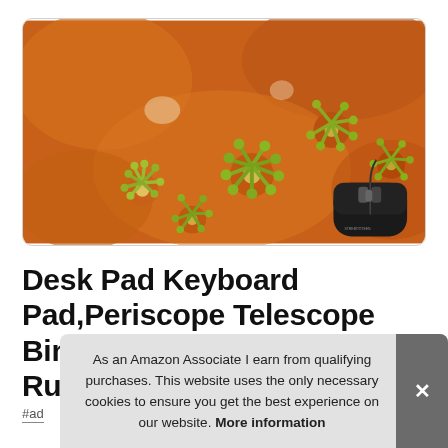[Figure (photo): A desk pad / mouse pad product image showing a close-up photograph of orange coral with green anemone tentacles, with a black computer mouse placed in the bottom-right corner of the pad. The pad has rounded corners.]
Desk Pad Keyboard Pad,Periscope Telescope Binoculars Seafaring Ship Ru
#ad
As an Amazon Associate I earn from qualifying purchases. This website uses the only necessary cookies to ensure you get the best experience on our website. More information